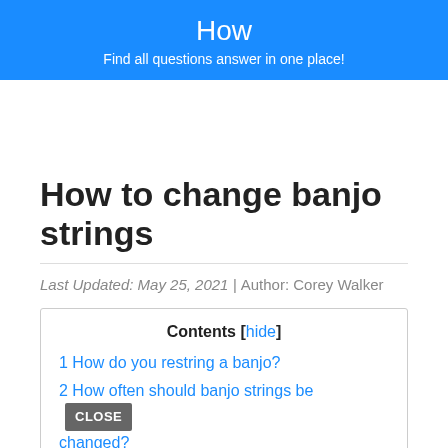How
Find all questions answer in one place!
How to change banjo strings
Last Updated: May 25, 2021 | Author: Corey Walker
| Contents [hide] |
| --- |
| 1 How do you restring a banjo? |
| 2 How often should banjo strings be changed? |
| 3 How do you put new banjo strings on? |